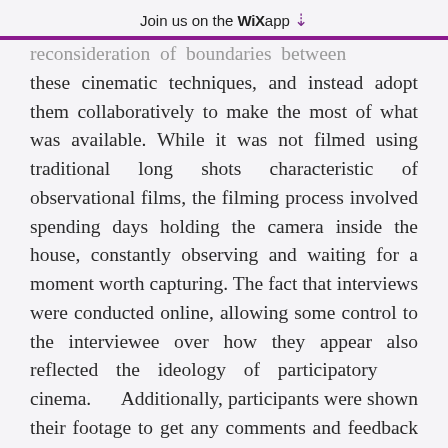Join us on the WiX app ↓
reconsideration of boundaries between these cinematic techniques, and instead adopt them collaboratively to make the most of what was available. While it was not filmed using traditional long shots characteristic of observational films, the filming process involved spending days holding the camera inside the house, constantly observing and waiting for a moment worth capturing. The fact that interviews were conducted online, allowing some control to the interviewee over how they appear also reflected the ideology of participatory cinema. Additionally, participants were shown their footage to get any comments and feedback they had. Before participants had to wit...